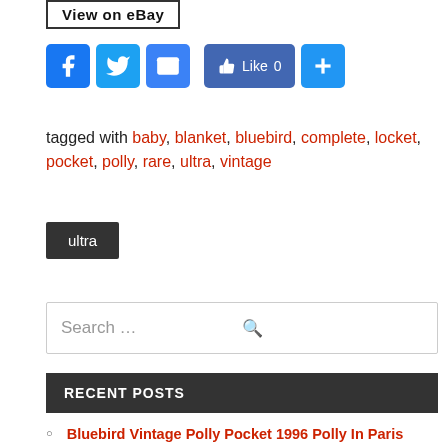[Figure (screenshot): eBay button with text 'View on eBay']
[Figure (infographic): Social media share buttons: Facebook, Twitter, Email, Facebook Like (0), Plus]
tagged with baby, blanket, bluebird, complete, locket, pocket, polly, rare, ultra, vintage
ultra
Search ...
RECENT POSTS
Bluebird Vintage Polly Pocket 1996 Polly In Paris Vacation Fun Playset
VTG POLLY POCKET BABY STAMPIN PLAYGROUND PLAYSET 1995 NRFB Damaged Box Read